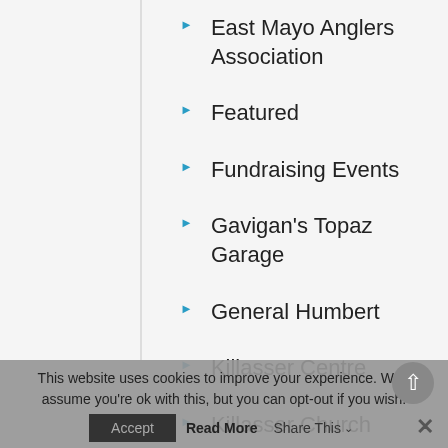East Mayo Anglers Association
Featured
Fundraising Events
Gavigan's Topaz Garage
General Humbert
Killasser Centre
Killasser Church
Killasser School Reunion
This website uses cookies to improve your experience. We'll assume you're ok with this, but you can opt-out if you wish.
Accept   Read More   Share This